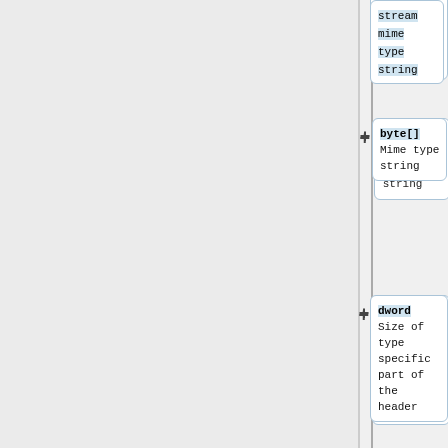[Figure (flowchart): A vertical flowchart/diagram showing data structure fields. Each entry has a '+' connector symbol on the left of a rounded box. The boxes show: (1) partially visible box with 'stream mime type string', (2) 'byte[] Mime type string', (3) 'dword Size of type specific part of the header', (4) 'byte[] Type specific data, meaning and format depends on mime type'. The left portion of the page is a light gray panel.]